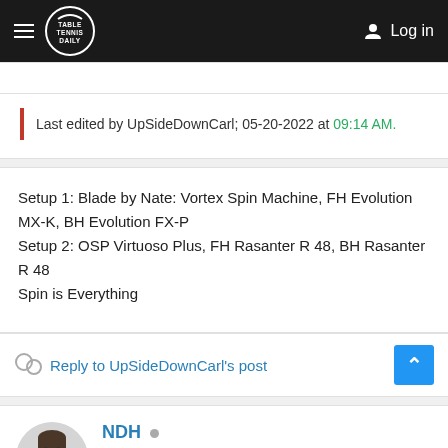TableTennisDaily — Log in
Last edited by UpSideDownCarl; 05-20-2022 at 09:14 AM.
Setup 1: Blade by Nate: Vortex Spin Machine, FH Evolution MX-K, BH Evolution FX-P
Setup 2: OSP Virtuoso Plus, FH Rasanter R 48, BH Rasanter R 48
Spin is Everything
Reply to UpSideDownCarl's post
NDH
says UK Premier Standard Player
Elite TTD Member
1,066 messages  1,261 likes